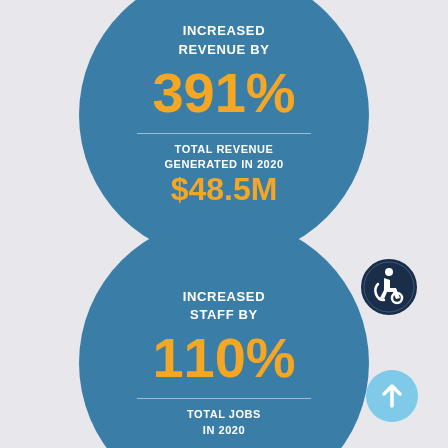[Figure (infographic): Large teal circle infographic showing 'INCREASED REVENUE BY 391%' and 'TOTAL REVENUE GENERATED IN 2020 $48.5M']
[Figure (infographic): Accessibility icon - dark blue circle with wheelchair user symbol]
[Figure (infographic): Large teal circle infographic showing 'INCREASED STAFF BY 110%' and 'TOTAL JOBS IN 2020']
[Figure (infographic): Light blue upward arrow button icon]